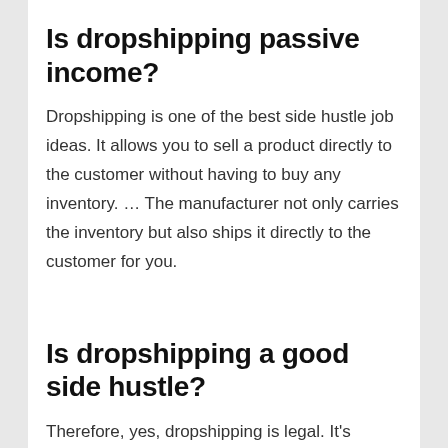Is dropshipping passive income?
Dropshipping is one of the best side hustle job ideas. It allows you to sell a product directly to the customer without having to buy any inventory. … The manufacturer not only carries the inventory but also ships it directly to the customer for you.
Is dropshipping a good side hustle?
Therefore, yes, dropshipping is legal. It's possible to make some decent money if you work hard and